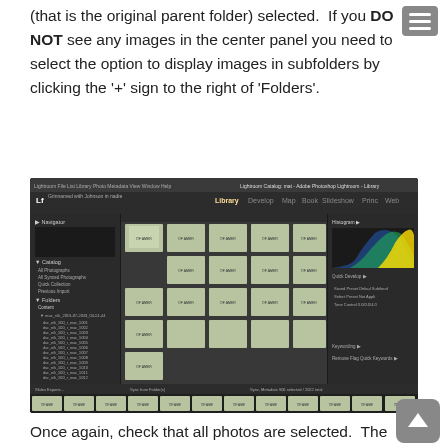(that is the original parent folder) selected.  If you DO NOT see any images in the center panel you need to select the option to display images in subfolders by clicking the '+' sign to the right of 'Folders'.
[Figure (screenshot): Screenshot of Adobe Lightroom Library module showing a grid of photos with a context menu open displaying 'Show Photos in Subfolders' option checked, a filmstrip at the bottom with photo thumbnails, and a histogram panel on the right.]
Once again, check that all photos are selected.  The choose